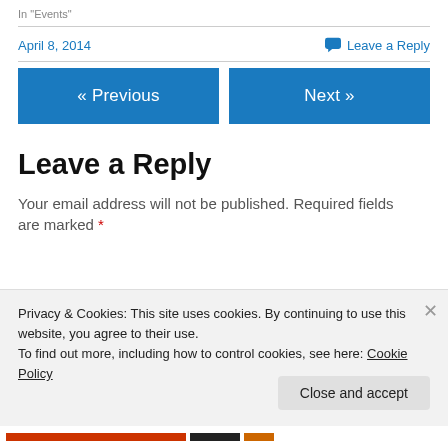In "Events"
April 8, 2014
Leave a Reply
« Previous
Next »
Leave a Reply
Your email address will not be published. Required fields are marked *
Privacy & Cookies: This site uses cookies. By continuing to use this website, you agree to their use.
To find out more, including how to control cookies, see here: Cookie Policy
Close and accept